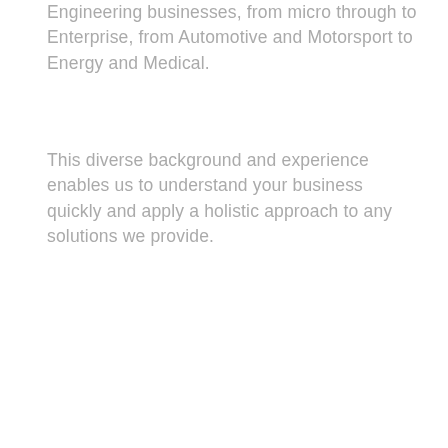Engineering businesses, from micro through to Enterprise, from Automotive and Motorsport to Energy and Medical.
This diverse background and experience enables us to understand your business quickly and apply a holistic approach to any solutions we provide.